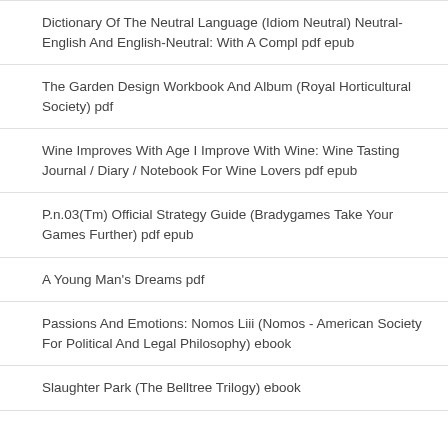Dictionary Of The Neutral Language (Idiom Neutral) Neutral-English And English-Neutral: With A Compl pdf epub
The Garden Design Workbook And Album (Royal Horticultural Society) pdf
Wine Improves With Age I Improve With Wine: Wine Tasting Journal / Diary / Notebook For Wine Lovers pdf epub
P.n.03(Tm) Official Strategy Guide (Bradygames Take Your Games Further) pdf epub
A Young Man's Dreams pdf
Passions And Emotions: Nomos Liii (Nomos - American Society For Political And Legal Philosophy) ebook
Slaughter Park (The Belltree Trilogy) ebook